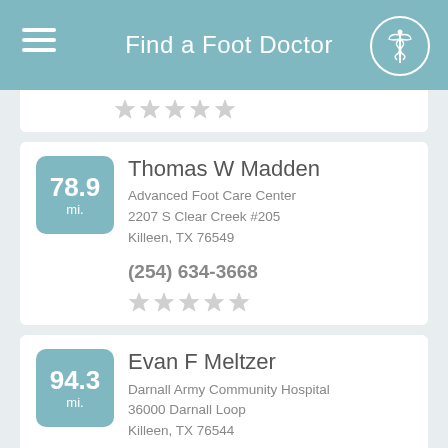Find a Foot Doctor
Thomas W Madden
Advanced Foot Care Center
2207 S Clear Creek #205
Killeen, TX 76549
(254) 634-3668
78.9 mi.
Evan F Meltzer
Darnall Army Community Hospital
36000 Darnall Loop
Killeen, TX 76544
(254) 288-8196
94.3 mi.